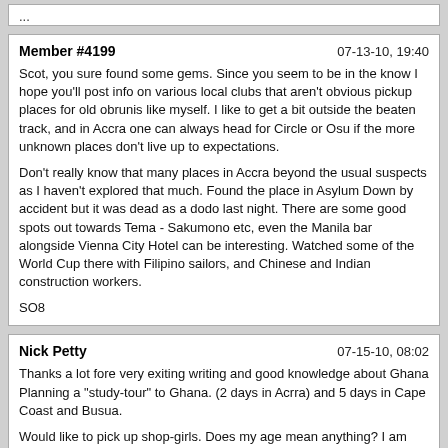...
Member #4199
07-13-10, 19:40

Scot, you sure found some gems. Since you seem to be in the know I hope you'll post info on various local clubs that aren't obvious pickup places for old obrunis like myself. I like to get a bit outside the beaten track, and in Accra one can always head for Circle or Osu if the more unknown places don't live up to expectations.

Don't really know that many places in Accra beyond the usual suspects as I haven't explored that much. Found the place in Asylum Down by accident but it was dead as a dodo last night. There are some good spots out towards Tema - Sakumono etc, even the Manila bar alongside Vienna City Hotel can be interesting. Watched some of the World Cup there with Filipino sailors, and Chinese and Indian construction workers.

SO8
Nick Petty
07-15-10, 08:02

Thanks a lot fore very exiting writing and good knowledge about Ghana Planning a "study-tour" to Ghana. (2 days in Acrra) and 5 days in Cape Coast and Busua.

Would like to pick up shop-girls. Does my age mean anything? I am almost 50 but still good looking

LarsNo age is nothing is jt you taking to any girl you like. At the shop.

Cheers man!
Member #4199
07-15-10, 19:46

Always nice to catch up with a friend, especially when she is affectionate and